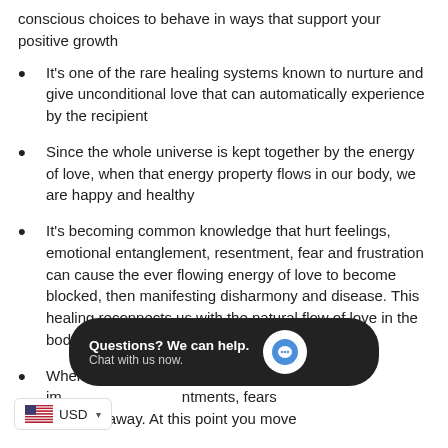conscious choices to behave in ways that support your positive growth
It's one of the rare healing systems known to nurture and give unconditional love that can automatically experience by the recipient
Since the whole universe is kept together by the energy of love, when that energy property flows in our body, we are happy and healthy
It's becoming common knowledge that hurt feelings, emotional entanglement, resentment, fear and frustration can cause the ever flowing energy of love to become blocked, then manifesting disharmony and disease. This healing reconnects us with the natural flow of love in the body, wiping our every weakness in our destiny
When you [should feel the im[ntments, fears [bts drain away. At this point you move
Questions? We can help. Chat with us now.
USD